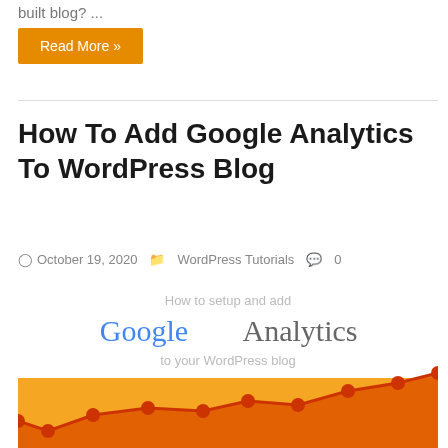built blog? ...
Read More »
How To Add Google Analytics To WordPress Blog
October 19, 2020   WordPress Tutorials   0
[Figure (illustration): Promotional image showing 'How to setup and add Google Analytics to your WordPress blog' with an orange line chart graphic on an orange/yellow background.]